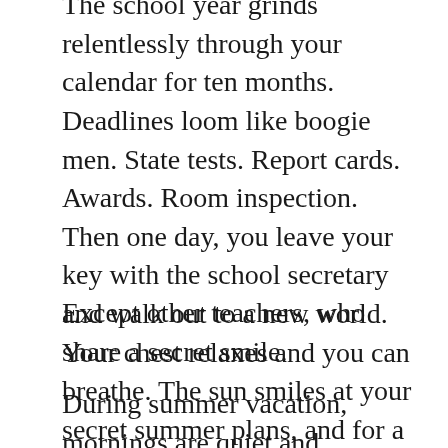The school year grinds relentlessly through your calendar for ten months. Deadlines loom like boogie men. State tests. Report cards. Awards. Room inspection. Then one day, you leave your key with the school secretary and walk out to a new world. Your chest relaxes and you can breathe. The sun smiles at your secret summer plans, and for a moment you forget that it will burn you. You don't realize that you have started to giggle, causing others around you to stare.
Except other teachers, who share a secret smile.
During summer vacation, mornings are quiet and leisurely. Birds chirping outside are the